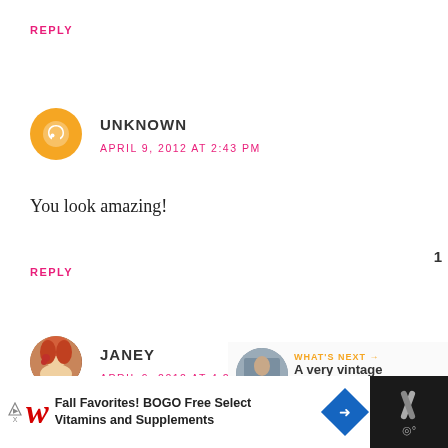REPLY
UNKNOWN
APRIL 9, 2012 AT 2:43 PM
You look amazing!
REPLY
JANEY
APRIL 9, 2012 AT 4:29 PM
[Figure (infographic): Floating UI buttons: gold heart button with count 1, and a share button]
[Figure (infographic): What's Next panel showing thumbnail and text 'A very vintage weekend']
[Figure (infographic): Advertisement bar: Walgreens Fall Favorites BOGO Free Select Vitamins and Supplements]